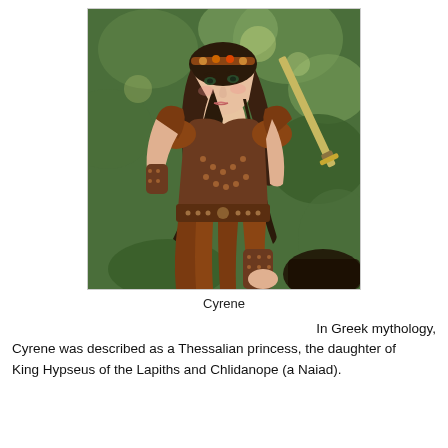[Figure (illustration): Digital painting illustration of Cyrene, a woman in brown warrior armor with a jeweled headband, dark flowing hair, holding a sword, set against a green foliage background.]
Cyrene
In Greek mythology, Cyrene was described as a Thessalian princess, the daughter of King Hypseus of the Lapiths and Chlidanope (a Naiad).